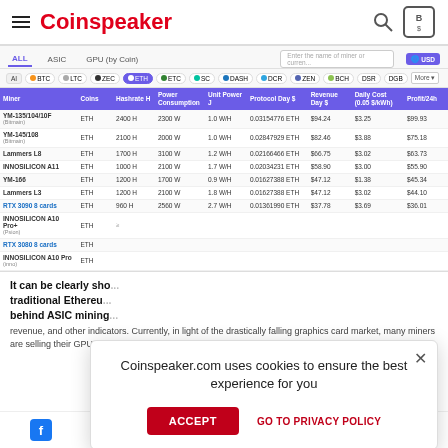Coinspeaker
[Figure (screenshot): Cryptocurrency mining profitability comparison table showing miners: YM-135/104/10F, YM-145/108, Lammers L8, INNOSILICON A11, YM-166, Lammers L3, RTX 3090 8 cards, INNOSILICON A10 Pro+, RTX 3080 8 cards, INNOSILICON A10 Pro. Columns: Miner, Coins, Hashrate H, Power Consumption W, Unit Power J, Protocol Day $, Revenue Day $, Daily Cost USD 0.05 $/kWh, Profit/24h. With tab filters: ALL, ASIC, GPU (by Coin) and coin filters: AI, BTC, LTC, ZEC, ETH, ETC, SC, DASH, DCR, ZEN, BCH, DSR, DGB with USD currency selector.]
Coinspeaker.com uses cookies to ensure the best experience for you
It can be clearly sho... traditional Ethereu... behind ASIC mining
revenue, and other indicators. Currently, in light of the drastically falling graphics card market, many miners are selling their GPU